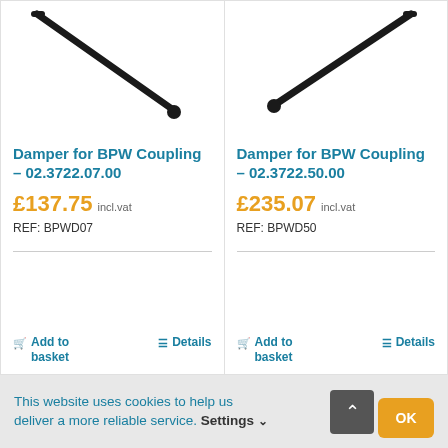[Figure (photo): Product photo of Damper for BPW Coupling 02.3722.07.00 - black metal rod with ball end, partially cropped]
Damper for BPW Coupling – 02.3722.07.00
£137.75 incl.vat
REF: BPWD07
Add to basket   Details
[Figure (photo): Product photo of Damper for BPW Coupling 02.3722.50.00 - black metal rod with ball end, partially cropped]
Damper for BPW Coupling – 02.3722.50.00
£235.07 incl.vat
REF: BPWD50
Add to basket   Details
This website uses cookies to help us deliver a more reliable service. Settings ∨